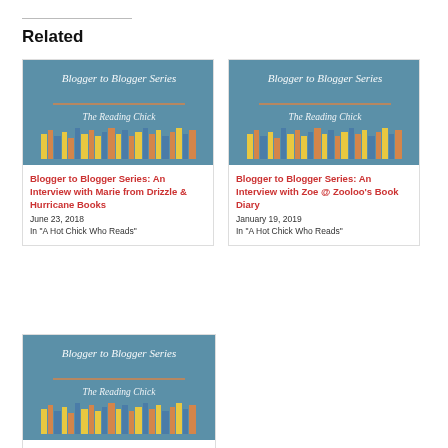Related
[Figure (illustration): Blogger to Blogger Series: The Reading Chick book cover illustration with colorful books on blue background]
Blogger to Blogger Series: An Interview with Marie from Drizzle & Hurricane Books
June 23, 2018
In "A Hot Chick Who Reads"
[Figure (illustration): Blogger to Blogger Series: The Reading Chick book cover illustration with colorful books on blue background]
Blogger to Blogger Series: An Interview with Zoe @ Zooloo's Book Diary
January 19, 2019
In "A Hot Chick Who Reads"
[Figure (illustration): Blogger to Blogger Series: The Reading Chick book cover illustration with colorful books on blue background]
Blogger to Blo...